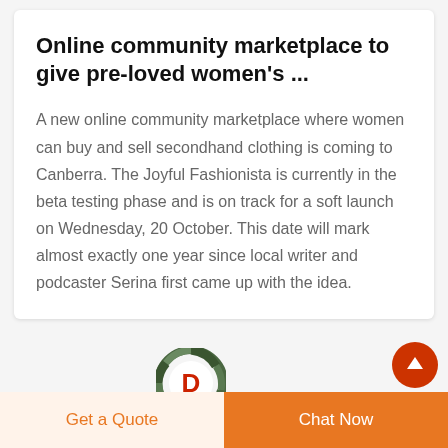Online community marketplace to give pre-loved women's ...
A new online community marketplace where women can buy and sell secondhand clothing is coming to Canberra. The Joyful Fashionista is currently in the beta testing phase and is on track for a soft launch on Wednesday, 20 October. This date will mark almost exactly one year since local writer and podcaster Serina first came up with the idea.
[Figure (logo): Circular logo with camouflage green border and red letter D in center]
Get a Quote
Chat Now